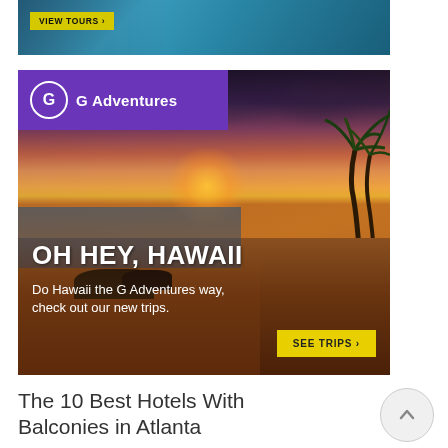[Figure (photo): Top advertisement banner showing a water/ocean background with a yellow 'VIEW TOURS >' button]
[Figure (photo): G Adventures advertisement banner featuring a Hawaii beach sunset with palm trees. Purple banner with G Adventures logo and name. Text reads 'OH HEY, HAWAII' and 'Do Hawaii the G Adventures way, check out our new trips.' with a yellow 'SEE TRIPS >' button.]
The 10 Best Hotels With Balconies in Atlanta